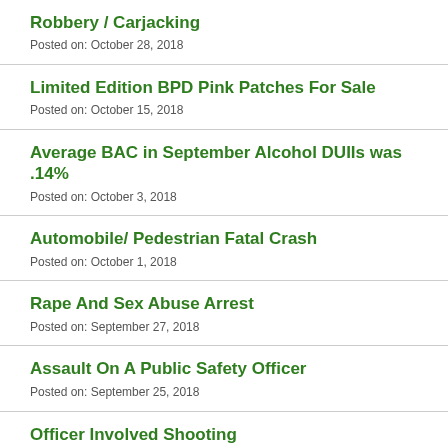Robbery / Carjacking
Posted on: October 28, 2018
Limited Edition BPD Pink Patches For Sale
Posted on: October 15, 2018
Average BAC in September Alcohol DUIIs was .14%
Posted on: October 3, 2018
Automobile/ Pedestrian Fatal Crash
Posted on: October 1, 2018
Rape And Sex Abuse Arrest
Posted on: September 27, 2018
Assault On A Public Safety Officer
Posted on: September 25, 2018
Officer Involved Shooting